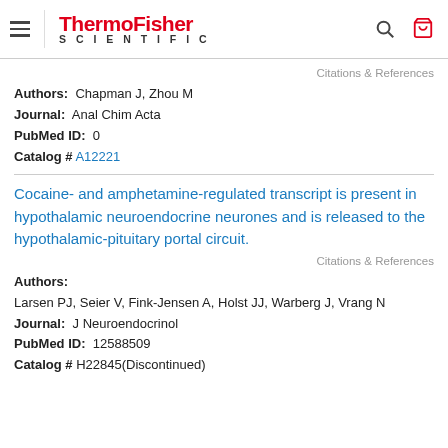[Figure (logo): ThermoFisher Scientific logo with hamburger menu, search and cart icons in header]
Citations & References
Authors: Chapman J, Zhou M
Journal: Anal Chim Acta
PubMed ID: 0
Catalog # A12221
Cocaine- and amphetamine-regulated transcript is present in hypothalamic neuroendocrine neurones and is released to the hypothalamic-pituitary portal circuit.
Citations & References
Authors:
Larsen PJ, Seier V, Fink-Jensen A, Holst JJ, Warberg J, Vrang N
Journal: J Neuroendocrinol
PubMed ID: 12588509
Catalog # H22845(Discontinued)